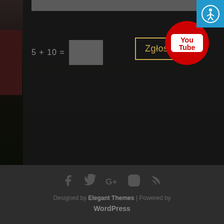[Figure (screenshot): Website screenshot showing a dark-themed comment/captcha form with '5 + 10 =' captcha, a text input box, a gold-bordered 'Zgłoś' button, a YouTube badge overlay, and an accessibility icon in the top-right corner. Background shows dark grass/outdoor image.]
[Figure (screenshot): Website footer on dark gray background with social media icons (Facebook, Twitter, Google+, Instagram, RSS) and text 'Designed by Elegant Themes | Powered by WordPress']
Designed by Elegant Themes | Powered by WordPress